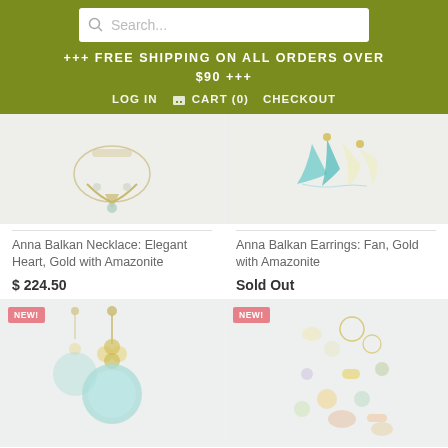[Figure (screenshot): Search bar with magnifying glass icon and placeholder text 'Search...']
+++ FREE SHIPPING ON ALL ORDERS OVER
$90 +++
LOG IN    🛒 CART (0)    CHECKOUT
[Figure (photo): Anna Balkan Necklace: Elegant Heart, Gold with Amazonite jewelry product image]
[Figure (photo): Anna Balkan Earrings: Fan, Gold with Amazonite jewelry product image with colorful turquoise and cream fans]
Anna Balkan Necklace: Elegant Heart, Gold with Amazonite
$ 224.50
Anna Balkan Earrings: Fan, Gold with Amazonite
Sold Out
[Figure (photo): NEW badge. Anna Balkan jewelry product image - dangling earrings with light blue disc and floral gold elements]
[Figure (photo): NEW badge. Anna Balkan jewelry product image - scatter of colorful gemstone pieces and gold rings]